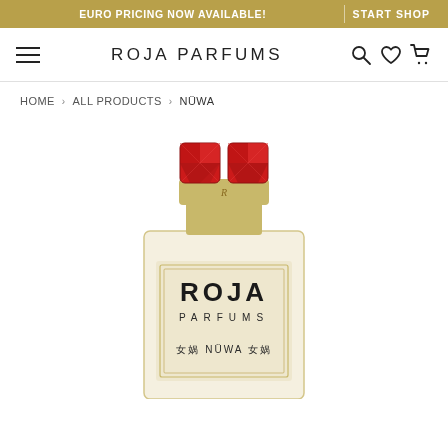EURO PRICING NOW AVAILABLE! | START SHOP
≡  ROJA PARFUMS  🔍 ♡ 🛒
HOME › ALL PRODUCTS › NÜWA
[Figure (photo): Roja Parfums NÜWA perfume bottle with gold cap topped with two large red gemstones, clear glass bottle with gold label reading ROJA PARFUMS and 女娲 NÜWA 女娲]